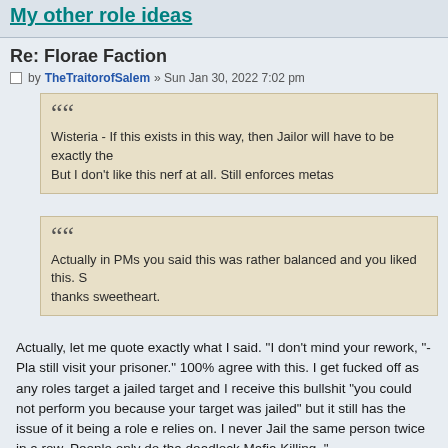My other role ideas
Re: Florae Faction
by TheTraitorofSalem » Sun Jan 30, 2022 7:02 pm
Wisteria - If this exists in this way, then Jailor will have to be exactly the... But I don't like this nerf at all. Still enforces metas
Actually in PMs you said this was rather balanced and you liked this. S... thanks sweetheart.
Actually, let me quote exactly what I said. "I don't mind your rework, "- Pl... still visit your prisoner." 100% agree with this. I get fucked off as any roles... target a jailed target and I receive this bullshit "you could not perform you... because your target was jailed" but it still has the issue of it being a role e... relies on. I never Jail the same person twice in a row. People only do tha... deadlock Mafia Killing. "